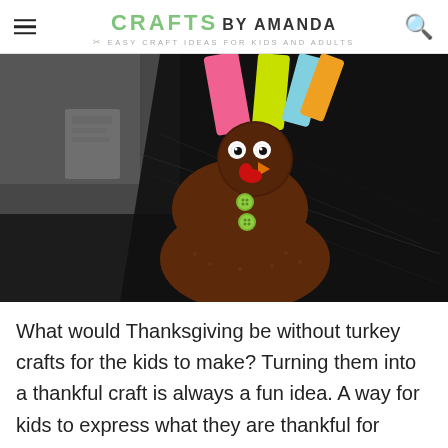CRAFTS BY AMANDA — EASY CRAFT IDEAS FOR KIDS AND ADULTS
[Figure (photo): A handmade turkey craft made from brown foam sponge circles stacked to form a body and head, with googly eyes, an orange beak, red wattle, green buttons, and colorful paper feathers visible in the background on a dark surface.]
What would Thanksgiving be without turkey crafts for the kids to make? Turning them into a thankful craft is always a fun idea. A way for kids to express what they are thankful for without the fear of public